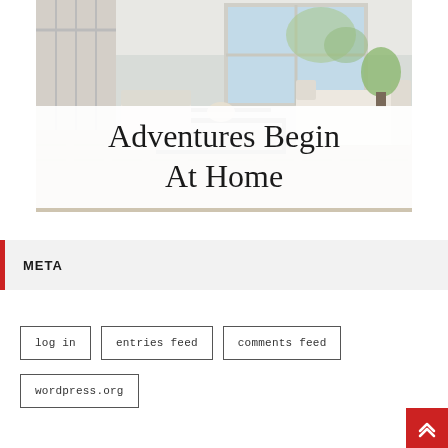[Figure (photo): Interior living room photo showing a bright modern farmhouse style space with white furniture, wooden coffee table, large windows, and plants. Overlaid with white translucent box containing the text 'Adventures Begin At Home'.]
Adventures Begin At Home
META
log in
entries feed
comments feed
wordpress.org